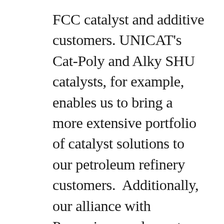FCC catalyst and additive customers. UNICAT's Cat-Poly and Alky SHU catalysts, for example, enables us to bring a more extensive portfolio of catalyst solutions to our petroleum refinery customers.  Additionally, our alliance with Pneumix complements our combined catalyst portfolio with their catalyst handling and addition system equipment.
We have structured our UNICAT alliance with the key focus being our customers and maximizing value and support to them.  Working together, we manage our costs by optimizing the use of existing